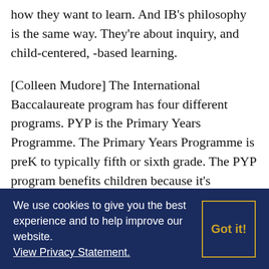how they want to learn. And IB's philosophy is the same way. They're about inquiry, and child-centered, -based learning.
[Colleen Mudore] The International Baccalaureate program has four different programs. PYP is the Primary Years Programme. The Primary Years Programme is preK to typically fifth or sixth grade. The PYP program benefits children because it's teaching them to be problem-solvers and inquirers. It's taking all the best practices and kind of molding it all together.
We use cookies to give you the best experience and to help improve our website. View Privacy Statement.